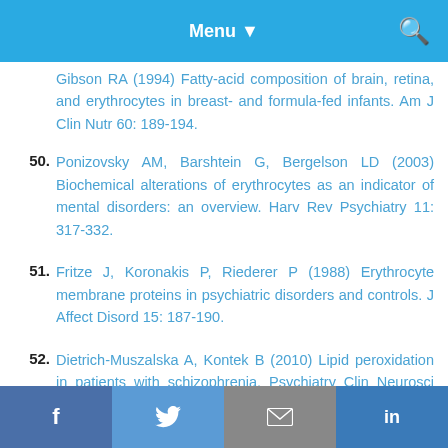Menu
Gibson RA (1994) Fatty-acid composition of brain, retina, and erythrocytes in breast- and formula-fed infants. Am J Clin Nutr 60: 189-194.
50. Ponizovsky AM, Barshtein G, Bergelson LD (2003) Biochemical alterations of erythrocytes as an indicator of mental disorders: an overview. Harv Rev Psychiatry 11: 317-332.
51. Fritze J, Koronakis P, Riederer P (1988) Erythrocyte membrane proteins in psychiatric disorders and controls. J Affect Disord 15: 187-190.
52. Dietrich-Muszalska A, Kontek B (2010) Lipid peroxidation in patients with schizophrenia. Psychiatry Clin Neurosci 64: 469-475.
f  Twitter  Email  in